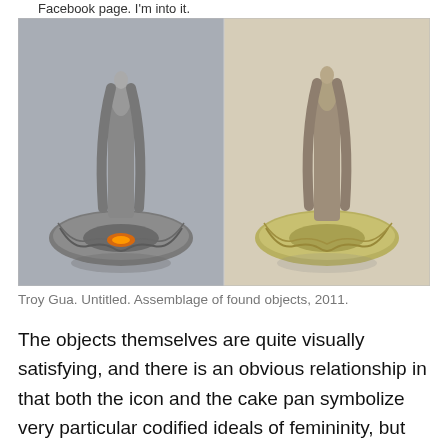Facebook page. I'm into it.
[Figure (photo): Two side-by-side photographs of assemblage sculptures by Troy Gua. Each shows a religious Virgin Mary figurine placed upright inside a bundt cake pan. The left image shows a metallic/silver-toned version with an orange glowing light at the base. The right image shows a tan/beige-toned version on a yellow-green bundt pan.]
Troy Gua. Untitled. Assemblage of found objects, 2011.
The objects themselves are quite visually satisfying, and there is an obvious relationship in that both the icon and the cake pan symbolize very particular codified ideals of femininity, but the main reason I'm interested in this